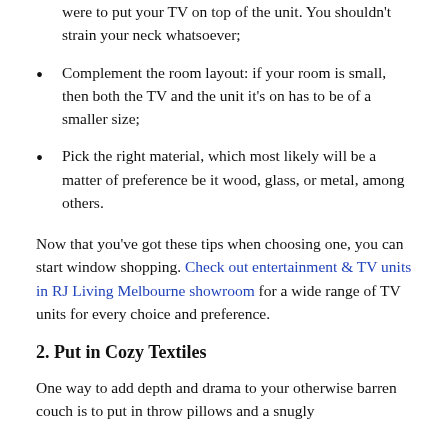were to put your TV on top of the unit. You shouldn't strain your neck whatsoever;
Complement the room layout: if your room is small, then both the TV and the unit it's on has to be of a smaller size;
Pick the right material, which most likely will be a matter of preference be it wood, glass, or metal, among others.
Now that you've got these tips when choosing one, you can start window shopping. Check out entertainment & TV units in RJ Living Melbourne showroom for a wide range of TV units for every choice and preference.
2. Put in Cozy Textiles
One way to add depth and drama to your otherwise barren couch is to put in throw pillows and a snugly